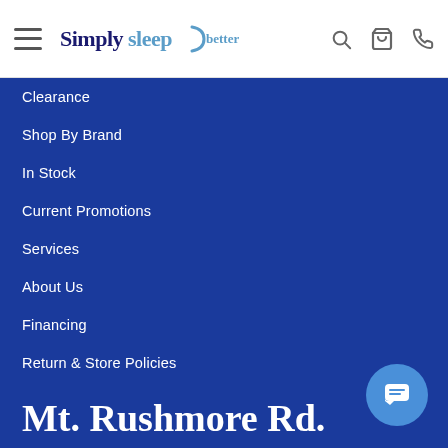[Figure (logo): Simply Sleep Better logo with hamburger menu icon and navigation icons (search, cart, phone)]
Clearance
Shop By Brand
In Stock
Current Promotions
Services
About Us
Financing
Return & Store Policies
Mt. Rushmore Rd.
2222 Mt. Rushmore Rd. Ste. B
Rapid City, SD 57701